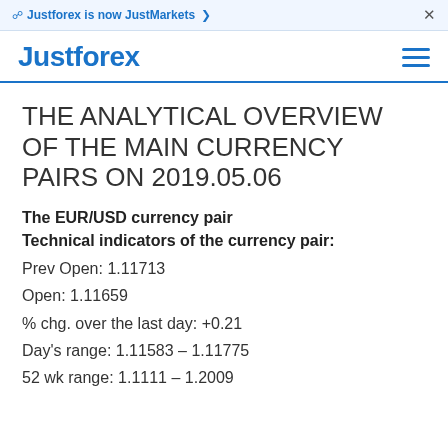Justforex is now JustMarkets ›  ×
THE ANALYTICAL OVERVIEW OF THE MAIN CURRENCY PAIRS ON 2019.05.06
The EUR/USD currency pair
Technical indicators of the currency pair:
Prev Open: 1.11713
Open: 1.11659
% chg. over the last day: +0.21
Day's range: 1.11583 – 1.11775
52 wk range: 1.1111 – 1.2009